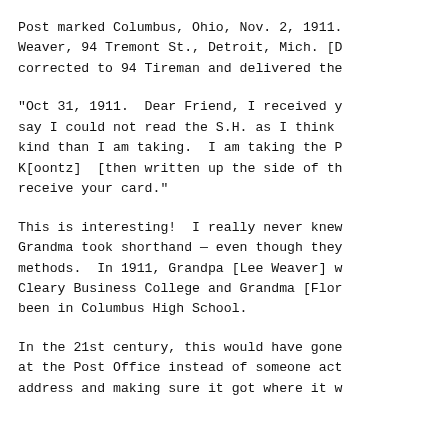Post marked Columbus, Ohio, Nov. 2, 1911. Weaver, 94 Tremont St., Detroit, Mich. [D corrected to 94 Tireman and delivered the
"Oct 31, 1911.  Dear Friend, I received y say I could not read the S.H. as I think kind than I am taking.  I am taking the P K[oontz]  [then written up the side of th receive your card."
This is interesting!  I really never knew Grandma took shorthand — even though they methods.  In 1911, Grandpa [Lee Weaver] w Cleary Business College and Grandma [Flor been in Columbus High School.
In the 21st century, this would have gone at the Post Office instead of someone act address and making sure it got where it w